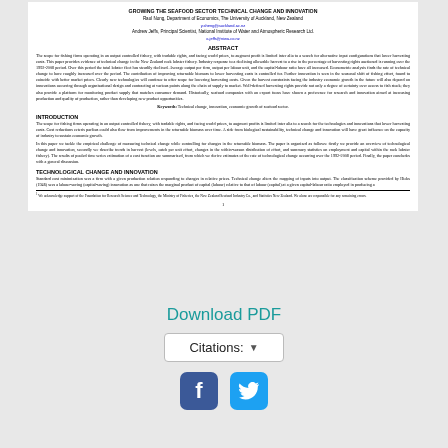GROWING THE SEAFOOD SECTOR TECHNICAL CHANGE AND INNOVATION
Raul Nong, Department of Economics, The University of Auckland, New Zealand
y.sheng@auckland.ac.nz
Andrew Jeffs, Principal Scientist, National Institute of Water and Atmospheric Research Ltd.
a.jeffs@niwa.co.nz
ABSTRACT
The scope for fishing firms operating in an output controlled fishery, with tradable rights, and facing world prices, to augment profit is limited inter alia to a search for alternative input configurations that lower harvesting costs. This paper provides evidence of technical change in the New Zealand rock lobster fishery. Industry response to a declining allowable harvest to a rise in the percentage of harvesting rights auctioned is running over the 1992-2008 period. Over this period the total lobster fleet has steadily declined. Average output per firm, output per labour unit, and the capital-labour ratio have all increased. Econometric analysis finds the rate of technical change to have roughly increased over the period. The contribution of improving returnable biomass to lower harvesting costs is controlled for. Further innovation is seen in the seasonal shift of fishing effort, found to coincide with better market prices. Clearly new technologies will continue to offer scope for lowering harvesting costs. Given the harvest constraints facing the industry economic growth in the future will also depend on innovations occurring through organisational design and contracting at various points along the chain of supply to market. Well-defined harvesting rights provide not only a degree of certainty over access to fish stock; they also provide a platform for monitoring product supply that matches consumer demand. Historically, seafood companies with an export focus have shown a preference for research and innovation aimed at increasing production and quality of production, rather than developing new product opportunities.
Keywords: Technical change, innovation, economic growth of seafood sector.
INTRODUCTION
The scope for fishing firms operating in an output controlled fishery, with tradable rights, and facing world prices, to augment profits is limited inter alia to a search for the technologies and innovations that lower harvesting costs. Cost reductions ceteris paribus could also flow from improvements in the returnable biomass over time. A side from biological sustainability, technical change and innovation will have great influence on the capacity of industry to sustain economic growth.
In this paper we tackle the empirical challenge of measuring technical change while controlling for changes in the returnable biomass. The paper is organized as follows: firstly we provide an overview of technological change and innovation, secondly we describe trends in harvest (levels, catch per unit effort, changes in the within-season distribution of effort, and summary statistics on employment and capital within the rock lobster fishery). The results of pooled time series estimation of a cost function are summarized, from which we derive estimates of the rate of technological change occurring over the 1992-2008 period. Finally, the paper concludes with a general discussion.
TECHNOLOGICAL CHANGE AND INNOVATION
Standard cost minimization sees a firm with a given production relation responding to changes in relative prices. Technical change alters the mapping of inputs into output. The classification scheme provided by Hicks (1946) sees a labour-saving (capital-saving) innovation as one that raises the marginal product of capital (labour) relative to that of labour (capital) at a given capital-labour ratio employed in producing a
¹ We acknowledge support of the Foundation for Research Science and Technology, the Ministry of Fisheries, the New Zealand Seafood Industry Co., and Statistics New Zealand. We alone are responsible for any remaining errors.
1
Download PDF
Citations: ▾
[Figure (other): Facebook share button (blue rounded square with white 'f' icon)]
[Figure (other): Twitter share button (light blue rounded square with white bird icon)]